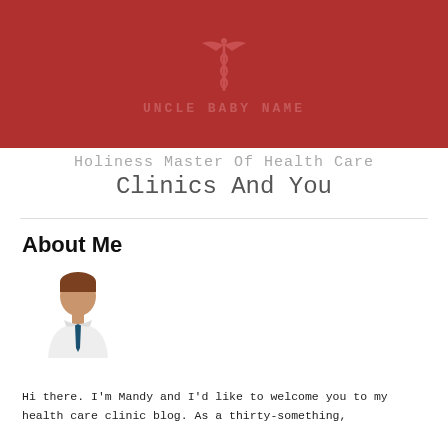[Figure (logo): Medical caduceus symbol (red) above brand name text on dark red header background]
Holiness Master Of Health Care Clinics And You
About Me
[Figure (illustration): Avatar illustration of a male doctor/person in white coat with dark tie and brown hair]
Hi there. I'm Mandy and I'd like to welcome you to my health care clinic blog. As a thirty-something,